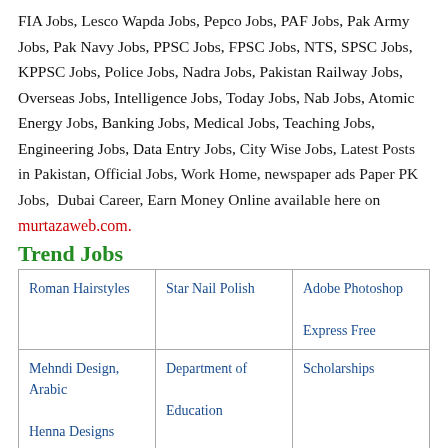FIA Jobs, Lesco Wapda Jobs, Pepco Jobs, PAF Jobs, Pak Army Jobs, Pak Navy Jobs, PPSC Jobs, FPSC Jobs, NTS, SPSC Jobs, KPPSC Jobs, Police Jobs, Nadra Jobs, Pakistan Railway Jobs, Overseas Jobs, Intelligence Jobs, Today Jobs, Nab Jobs, Atomic Energy Jobs, Banking Jobs, Medical Jobs, Teaching Jobs, Engineering Jobs, Data Entry Jobs, City Wise Jobs, Latest Posts in Pakistan, Official Jobs, Work Home, newspaper ads Paper PK Jobs,  Dubai Career, Earn Money Online available here on murtazaweb.com.
Trend Jobs
| Roman Hairstyles | Star Nail Polish | Adobe Photoshop

Express Free |
| Mehndi Design, Arabic

Henna Designs | Department of

Education | Scholarships |
| Professor Jobs | Adobe Photoshop | Professor, Lecturer |